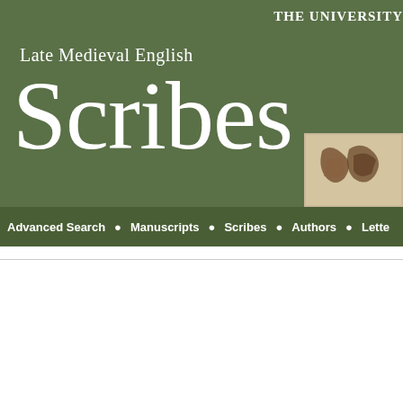The University
Late Medieval English Scribes
[Figure (illustration): Manuscript handwriting sample showing medieval script letters]
Advanced Search • Manuscripts • Scribes • Authors • Lette
Browse Authors: Authors > Manuscripts authored by Chaucer, Lydga
USA, San Marino, CA, Henry E. Huntington Library MS HM 144